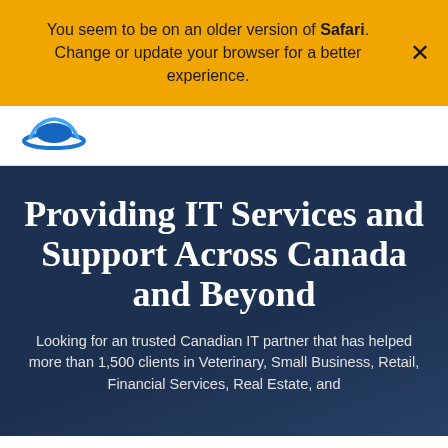You seem to be on an older version of Safari. Change or update your browser for a better experience.
[Figure (logo): Company logo with blue swoosh/hat graphic]
Providing IT Services and Support Across Canada and Beyond
Looking for an trusted Canadian IT partner that has helped more than 1,500 clients in Veterinary, Small Business, Retail, Financial Services, Real Estate, and